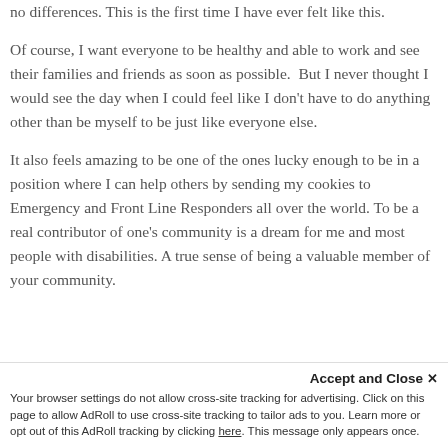no differences. This is the first time I have ever felt like this.
Of course, I want everyone to be healthy and able to work and see their families and friends as soon as possible.  But I never thought I would see the day when I could feel like I don't have to do anything other than be myself to be just like everyone else.
It also feels amazing to be one of the ones lucky enough to be in a position where I can help others by sending my cookies to Emergency and Front Line Responders all over the world. To be a real contributor of one's community is a dream for me and most people with disabilities. A true sense of being a valuable member of your community.
Accept and Close ✕
Your browser settings do not allow cross-site tracking for advertising. Click on this page to allow AdRoll to use cross-site tracking to tailor ads to you. Learn more or opt out of this AdRoll tracking by clicking here. This message only appears once.